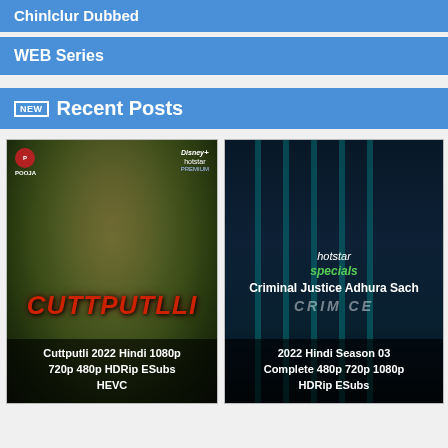Chinlclur Dubbed
WEB Series
NEW  Recent Posts
[Figure (photo): Movie poster for Cuttputli 2022 - dark green/olive background with a face and red horror title text. Logos: POOJA, Disney+ Hotstar. Caption overlay: Cuttputli 2022 Hindi 1080p 720p 480p HDRip ESubs HEVC]
[Figure (photo): TV series poster for Criminal Justice Adhura Sach - dark teal/blue background with prison bars and three actors. Hotstar Specials logo. Caption overlay: Criminal Justice Adhura Sach 2022 Hindi Season 03 Complete 480p 720p 1080p HDRip ESubs]